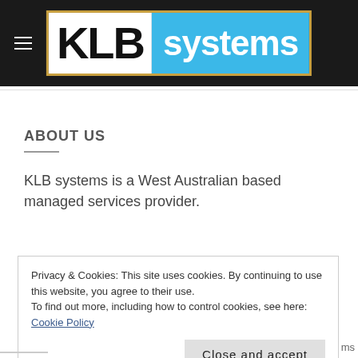[Figure (logo): KLB systems logo — black KLB text on white background beside blue 'systems' text on light-blue background, with gold border]
ABOUT US
KLB systems is a West Australian based managed services provider.
Privacy & Cookies: This site uses cookies. By continuing to use this website, you agree to their use.
To find out more, including how to control cookies, see here: Cookie Policy
Close and accept